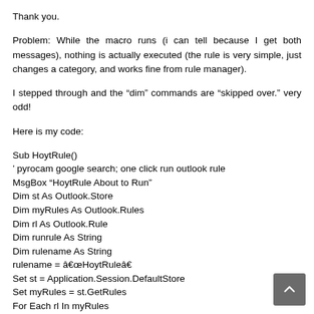Thank you.
Problem: While the macro runs (i can tell because I get both messages), nothing is actually executed (the rule is very simple, just changes a category, and works fine from rule manager).
I stepped through and the “dim” commands are “skipped over.” very odd!
Here is my code:
Sub HoytRule()
' pyrocam google search; one click run outlook rule
MsgBox “HoytRule About to Run”
Dim st As Outlook.Store
Dim myRules As Outlook.Rules
Dim rl As Outlook.Rule
Dim runrule As String
Dim rulename As String
rulename = â€œHoytRuleâ€
Set st = Application.Session.DefaultStore
Set myRules = st.GetRules
For Each rl In myRules
If rl.RuleType = olRuleReceive Then
If rl.Name = “HoytRule” Then